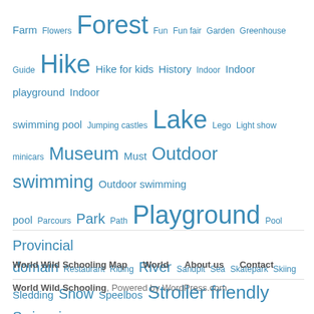[Figure (other): Tag cloud of activity/location keywords in various blue font sizes including Farm, Forest, Hike, Lake, Museum, Playground, Stroller friendly, Swimming, Water playground, Zoo, etc.]
World Wild Schooling Map   World   About us   Contact
World Wild Schooling, Powered by WordPress.com.